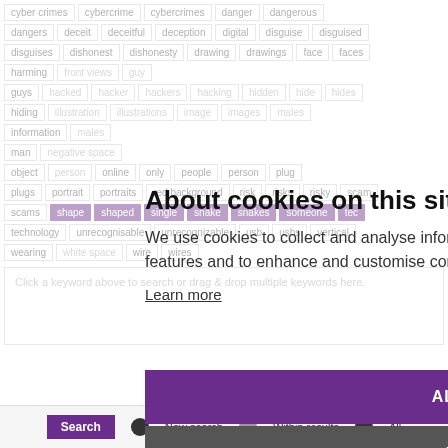[Figure (screenshot): Background of keyword tags in a grid layout showing terms like cyber crimes, cybercrime, cybercrimes, danger, dangerous, dangers, deceit, deceitful, deception, digital, disguise, disguised, disguises, dishonest, dishonesty, drawing, drawings, face, faces, harming, front views, guy, guys, hacked, hacker, hackers, hacking, hidden, hide, hides, hiding, illustration, illustrations, image, images, males, man, negative space, object, person, online, only, people, person, plug, plugs, portrait, portraits, red background, risk, risks, risky, scam, scams, shape, shaped, single, snake, snakes, someone, technology, unrecognisable, unrecognizable, usb, usbs, vertical, wearing, white space, wire, wires]
About cookies on this site
We use cookies to collect and analyse information on site performance and usage, to provide social media features and to enhance and customise content and advertisements.
Learn more
ALLOW ALL COOKIES
COOKIE SETTINGS
Click a keyword above to search or drag & drop multiple keywords here.
New search     Within results     All